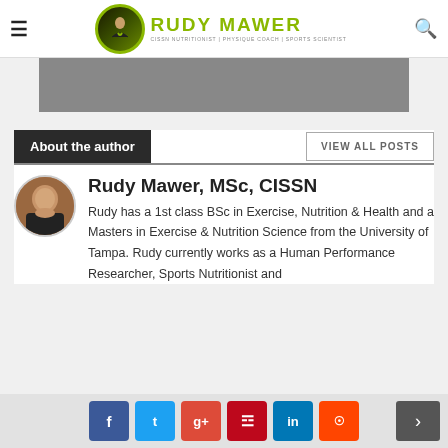RUDY MAWER — CISSN NUTRITIONIST | PHYSIQUE COACH | SPORTS SCIENTIST
[Figure (photo): Gray banner image placeholder at top of page]
About the author
VIEW ALL POSTS
Rudy Mawer, MSc, CISSN
Rudy has a 1st class BSc in Exercise, Nutrition & Health and a Masters in Exercise & Nutrition Science from the University of Tampa. Rudy currently works as a Human Performance Researcher, Sports Nutritionist and
[Figure (photo): Author avatar photo of Rudy Mawer]
Social share buttons: Facebook, Twitter, Google+, Pinterest, LinkedIn, Reddit